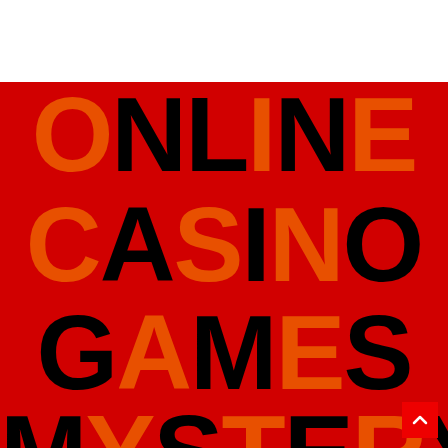[Figure (illustration): Book cover or promotional graphic with red background and large bold text stacked in three rows: 'ONLINE', 'CASINO', 'GAMES', 'MYSTERY' with alternating black and orange letters overlapping each other creating a layered typographic effect.]